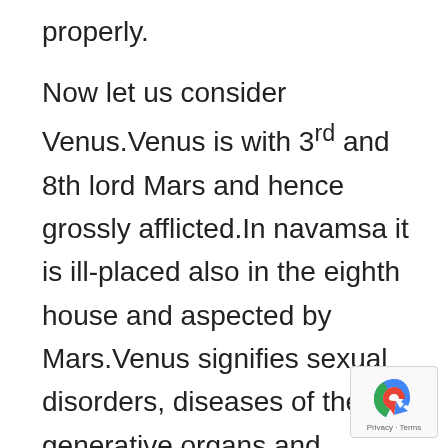properly.
Now let us consider Venus.Venus is with 3rd and 8th lord Mars and hence grossly afflicted.In navamsa it is ill-placed also in the eighth house and aspected by Mars.Venus signifies sexual disorders, diseases of the generative organs and urinary system.Afflicted and ill-placed Venus may lead to sexual perversions  and venereal diseases.Most importantly Venus is controller of harmonal system of the body.Even a layman knows that menstrual cycle in a women is regulated by